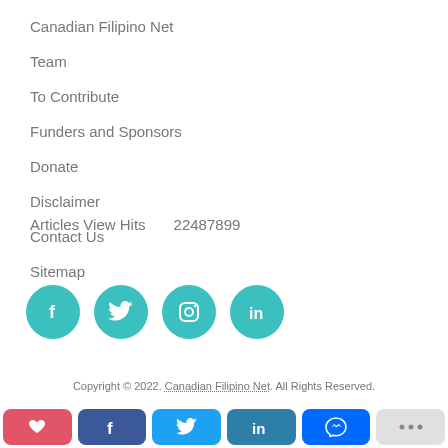Canadian Filipino Net
Disclaimer
Team
Contact Us
To Contribute
Sitemap
Funders and Sponsors
Donate
Articles View Hits    22487899
[Figure (infographic): Four teal circular social media icons: Facebook (f), Twitter (bird), Instagram (camera), LinkedIn (in)]
Copyright © 2022. Canadian Filipino Net. All Rights Reserved.
[Figure (infographic): Share bar with buttons: heart (red), Facebook (blue), Twitter (light blue), LinkedIn (teal-blue), Messenger (blue), more (gray with ...)]